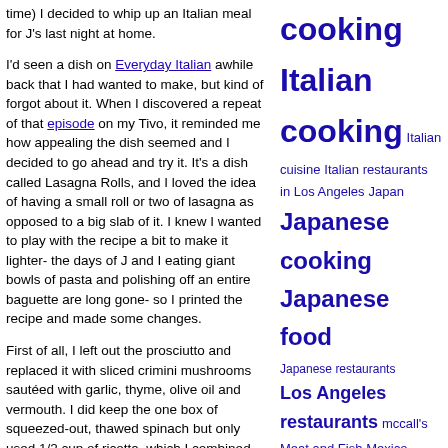time) I decided to whip up an Italian meal for J's last night at home.
I'd seen a dish on Everyday Italian awhile back that I had wanted to make, but kind of forgot about it. When I discovered a repeat of that episode on my Tivo, it reminded me how appealing the dish seemed and I decided to go ahead and try it. It's a dish called Lasagna Rolls, and I loved the idea of having a small roll or two of lasagna as opposed to a big slab of it. I knew I wanted to play with the recipe a bit to make it lighter- the days of J and I eating giant bowls of pasta and polishing off an entire baguette are long gone- so I printed the recipe and made some changes.
First of all, I left out the prosciutto and replaced it with sliced crimini mushrooms sautéed with garlic, thyme, olive oil and vermouth. I did keep the one box of squeezed-out, thawed spinach but only used 1/2 cup of ricotta, which I combined in the Cuisinart with one ounce of grated parmiggiano
cooking Italian cooking Italian cuisine Italian restaurants in Los Angeles Japan Japanese cooking Japanese food Japanese restaurants Los Angeles restaurants mccall's Meat and Fish Mexico Mexico City Party food Pasadena lunch Pizza San Francisco South Pasadena restaurants Sushi restaurants sweets Tapas Tuna Toast Ten Uncatego vegan food vegan recipes Vegetarian